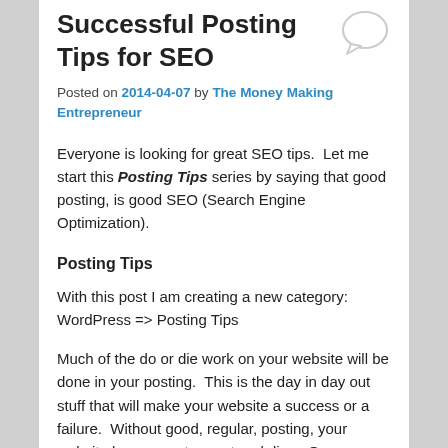Successful Posting Tips for SEO
Posted on 2014-04-07 by The Money Making Entrepreneur
Everyone is looking for great SEO tips.  Let me start this Posting Tips series by saying that good posting, is good SEO (Search Engine Optimization).
Posting Tips
With this post I am creating a new category: WordPress => Posting Tips
Much of the do or die work on your website will be done in your posting.  This is the day in day out stuff that will make your website a success or a failure.  Without good, regular, posting, your website becomes stagnant and dies.  Or worse, your website could be penalized by search engines for a number of common infractions that are common to spammers, black hat (illegal) SEO.and